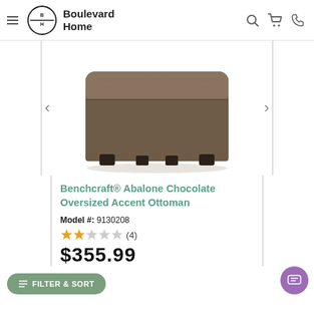Boulevard Home
[Figure (photo): Brown leather oversized accent ottoman with dark wood legs, photographed on white background]
Benchcraft® Abalone Chocolate Oversized Accent Ottoman
Model #: 9130208
2 out of 5 stars (4)
$355.99